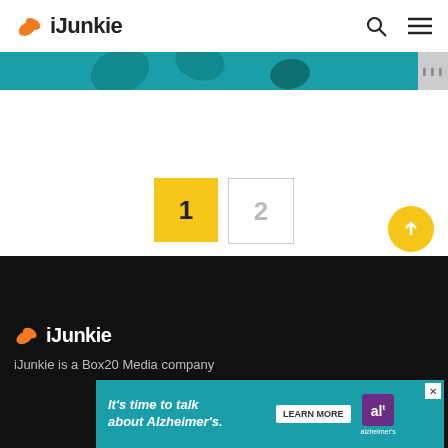[Figure (logo): iJunkie logo with orange leaf icon and bold text in header]
[Figure (screenshot): Teal banner image strip at top of content area]
[Figure (infographic): Pagination buttons: page 1 (yellow/active) and page 2 (grey/inactive)]
[Figure (logo): iJunkie footer logo white text on black background]
iJunkie is a Box20 Media company
[Figure (screenshot): Advertisement banner: It's time to talk about Alzheimer's. LEARN MORE - Alzheimer's Association]